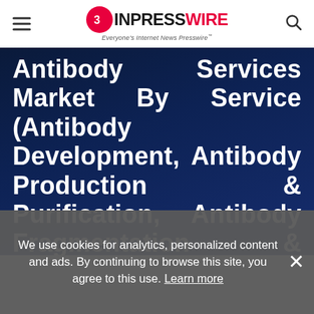EINPresswire — Everyone's Internet News Presswire
Antibody Services Market By Service (Antibody Development, Antibody Production & Purification, Antibody Fragmentation & Labeling), By Type (Monoclonal, Polyclonal), By End-Use (Bioscience Companies, Bioscience
We use cookies for analytics, personalized content and ads. By continuing to browse this site, you agree to this use. Learn more